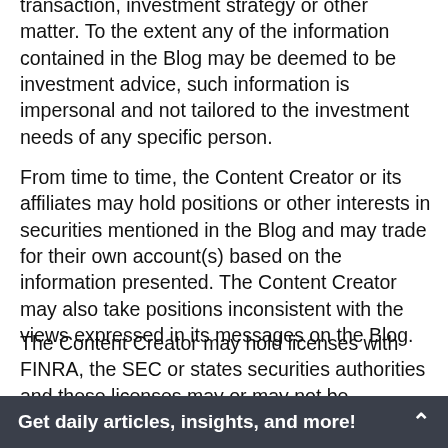transaction, investment strategy or other matter. To the extent any of the information contained in the Blog may be deemed to be investment advice, such information is impersonal and not tailored to the investment needs of any specific person.
From time to time, the Content Creator or its affiliates may hold positions or other interests in securities mentioned in the Blog and may trade for their own account(s) based on the information presented. The Content Creator may also take positions inconsistent with the views expressed in its messages on the Blog.
The Content Creator may hold licenses with FINRA, the SEC or states securities authorities and these licenses may or may not be disclosed by the Content Creator in
Get daily articles, insights, and more!